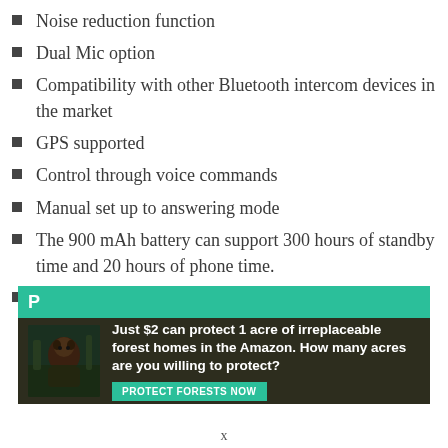Noise reduction function
Dual Mic option
Compatibility with other Bluetooth intercom devices in the market
GPS supported
Control through voice commands
Manual set up to answering mode
The 900 mAh battery can support 300 hours of standby time and 20 hours of phone time.
Waterproof
[Figure (infographic): Advertisement banner: teal top bar with bold white text 'P...' partially visible. Dark green/brown background with an image of a primate in forest. Text reads: 'Just $2 can protect 1 acre of irreplaceable forest homes in the Amazon. How many acres are you willing to protect?' with a green 'PROTECT FORESTS NOW' button.]